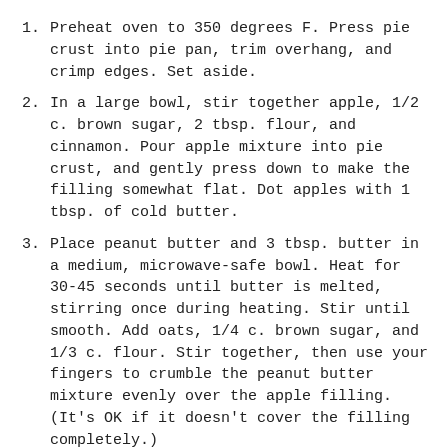Preheat oven to 350 degrees F. Press pie crust into pie pan, trim overhang, and crimp edges. Set aside.
In a large bowl, stir together apple, 1/2 c. brown sugar, 2 tbsp. flour, and cinnamon. Pour apple mixture into pie crust, and gently press down to make the filling somewhat flat. Dot apples with 1 tbsp. of cold butter.
Place peanut butter and 3 tbsp. butter in a medium, microwave-safe bowl. Heat for 30-45 seconds until butter is melted, stirring once during heating. Stir until smooth. Add oats, 1/4 c. brown sugar, and 1/3 c. flour. Stir together, then use your fingers to crumble the peanut butter mixture evenly over the apple filling. (It's OK if it doesn't cover the filling completely.)
Cover the edge of the pie with a
silicone pie ring